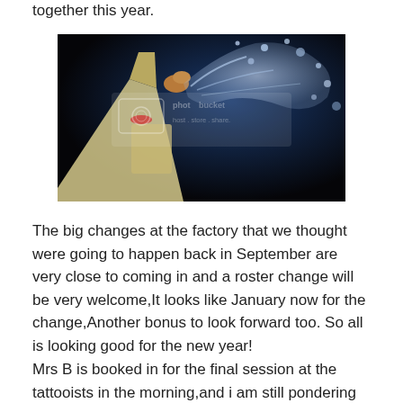together this year.
[Figure (photo): A champagne bottle popping its cork with liquid splashing against a dark blue/black background. A watermark reads 'photobucket host store share'.]
The big changes at the factory that we thought were going to happen back in September are very close to coming in and a roster change will be very welcome,It looks like January now for the change,Another bonus to look forward too. So all is looking good for the new year!
Mrs B is booked in for the final session at the tattooists in the morning,and i am still pondering the last design for my